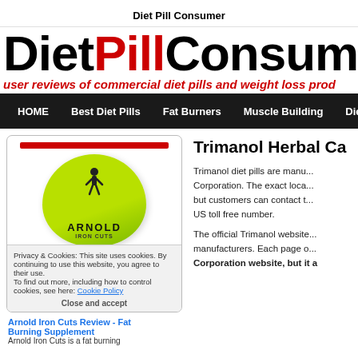Diet Pill Consumer
[Figure (logo): DietPillConsumer logo with 'Pill' in red and rest in black, large bold font]
user reviews of commercial diet pills and weight loss products
HOME | Best Diet Pills | Fat Burners | Muscle Building | Diet R...
[Figure (photo): Arnold Iron Cuts supplement bottle in bright green/lime color with figure silhouette]
Privacy & Cookies: This site uses cookies. By continuing to use this website, you agree to their use.
To find out more, including how to control cookies, see here: Cookie Policy
Close and accept
Arnold Iron Cuts Review - Fat Burning Supplement
Arnold Iron Cuts is a fat burning
Trimanol Herbal Ca...
Trimanol diet pills are manufactured by... Corporation. The exact location... but customers can contact t... US toll free number.
The official Trimanol website... manufacturers. Each page o... Corporation website, but it a...